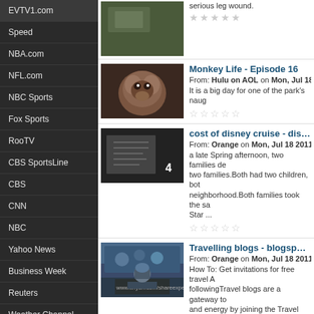EVTV1.com
Speed
NBA.com
NFL.com
NBC Sports
Fox Sports
RooTV
CBS SportsLine
CBS
CNN
NBC
Yahoo News
Business Week
Reuters
Weather Channel
serious leg wound.
Monkey Life - Episode 16
From: Hulu on AOL on Mon, Jul 18 2
It is a big day for one of the park's naug
cost of disney cruise - disney c
From: Orange on Mon, Jul 18 2011 10
a late Spring afternoon, two families de... two families.Both had two children, both neighborhood.Both families took the sa... Star ...
Travelling blogs - blogspot tra
From: Orange on Mon, Jul 18 2011 10
How To: Get invitations for free travel A... following Travel blogs are a gateway to... and energy by joining the Travel Blog S... a travel ...
Bert jets up Master Blaster
From: Travel Channel on Mon, Jul 18